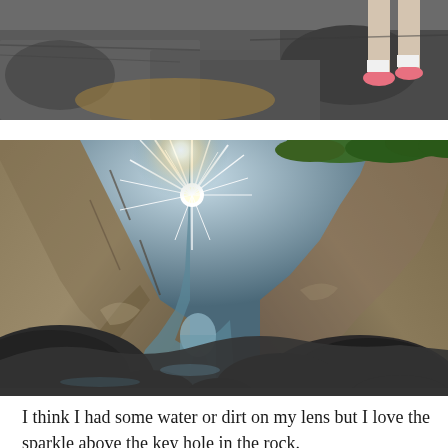[Figure (photo): Partial photo (cropped at top) showing rocky coastal terrain with a person's feet/legs visible in the upper right, wearing pink sneakers. Dark rocks and sand.]
[Figure (photo): Dramatic photo of a keyhole arch in coastal rocks with sunburst/sun star shining through the gap between rock formations, dark boulders in the foreground, green vegetation on top of the cliff, and calm water visible through the rock arch.]
I think I had some water or dirt on my lens but I love the sparkle above the key hole in the rock.